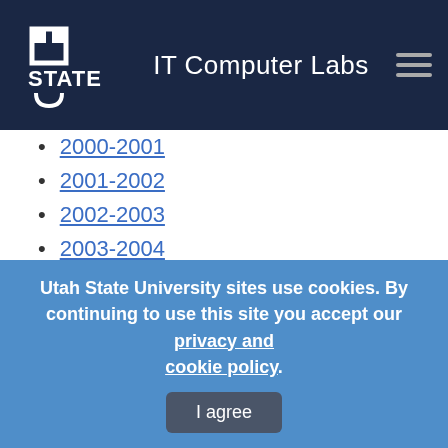IT Computer Labs
2000-2001
2001-2002
2002-2003
2003-2004
2004-2005
2005-2006
2006-2007
2007-2008
2008-2009
Utah State University sites use cookies. By continuing to use this site you accept our privacy and cookie policy.